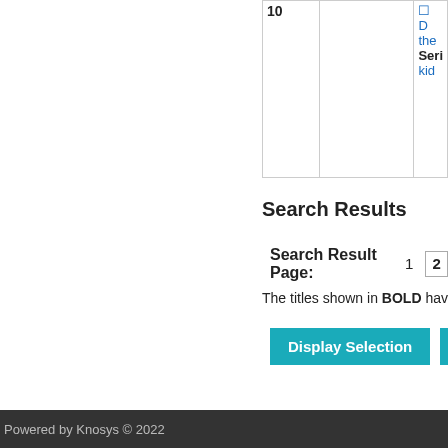|  |  |  |
| --- | --- | --- |
| 10 |  | ☐ D the Seri kid |
Search Results
Search Result Page: 1 2
The titles shown in BOLD have
Display Selection    Rese
Powered by Knosys © 2022